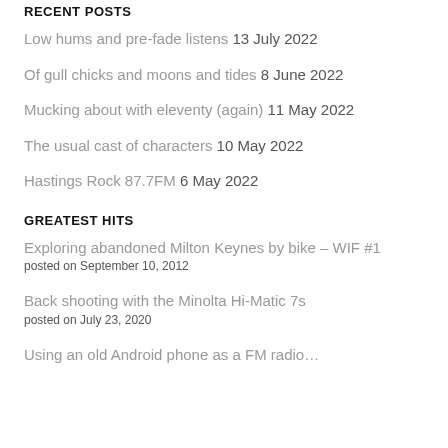RECENT POSTS
Low hums and pre-fade listens 13 July 2022
Of gull chicks and moons and tides 8 June 2022
Mucking about with eleventy (again) 11 May 2022
The usual cast of characters 10 May 2022
Hastings Rock 87.7FM 6 May 2022
GREATEST HITS
Exploring abandoned Milton Keynes by bike – WIF #1
posted on September 10, 2012
Back shooting with the Minolta Hi-Matic 7s
posted on July 23, 2020
Using an old Android phone as a FM radio...